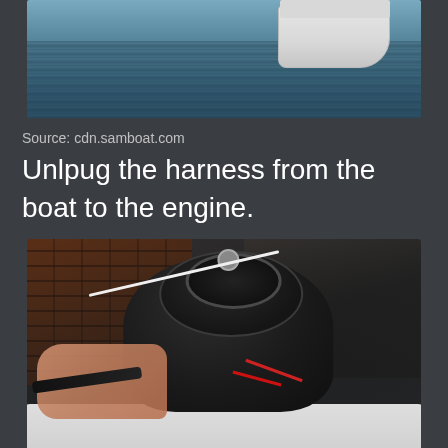[Figure (photo): Partial view of a boat on water, showing the rear/side of a white boat hull on dark water, cropped at top of page]
Source: cdn.samboat.com
Unlpug the harness from the boat to the engine.
[Figure (photo): Close-up photo of a black outboard boat engine removed from the boat, sitting in a white fiberglass hull or stand, with a brick wall and garage in the background. A person's hand is visible at the bottom holding something near the engine.]